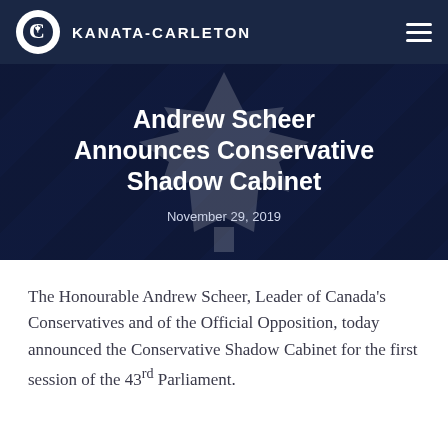KANATA-CARLETON
Andrew Scheer Announces Conservative Shadow Cabinet
November 29, 2019
The Honourable Andrew Scheer, Leader of Canada’s Conservatives and of the Official Opposition, today announced the Conservative Shadow Cabinet for the first session of the 43rd Parliament.